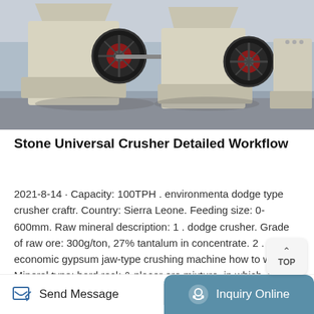[Figure (photo): Two large industrial stone crusher machines (cone/impact crushers) in cream/beige color with red flywheel accents, photographed in a factory/warehouse setting with blue background.]
Stone Universal Crusher Detailed Workflow
2021-8-14 · Capacity: 100TPH . environmental dodge type crusher craftr. Country: Sierra Leone. Feeding size: 0-600mm. Raw mineral description: 1 . dodge crusher. Grade of raw ore: 300g/ton, 27% tantalum in concentrate. 2 . economic gypsum jaw-type crushing machine how to work. Mineral type: hard rock & placer ore mixture, in which, rock ore about 25%, placer ore takes 75% . medium tale jaw crusher